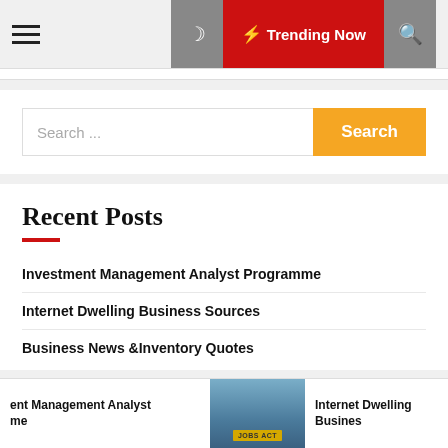☰  🌙  ⚡ Trending Now  🔍
Search ...
Recent Posts
Investment Management Analyst Programme
Internet Dwelling Business Sources
Business News &Inventory Quotes
ent Management Analyst me   Internet Dwelling Busines